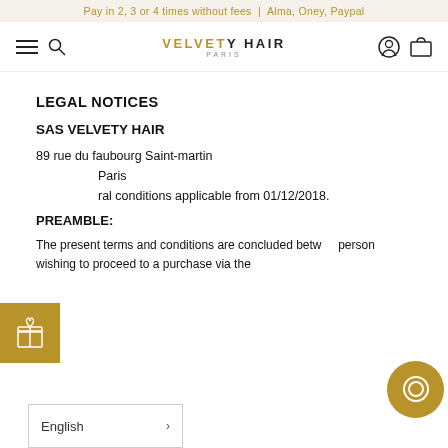Pay in 2, 3 or 4 times without fees  |  Alma, Oney, Paypal
[Figure (logo): Velvety Hair Paris logo with hamburger menu, search icon, user icon, and cart icon in navigation bar]
LEGAL NOTICES
SAS VELVETY HAIR
89 rue du faubourg Saint-martin
Paris
General conditions applicable from 01/12/2018.
PREAMBLE:
The present terms and conditions are concluded between the person wishing to proceed to a purchase via the